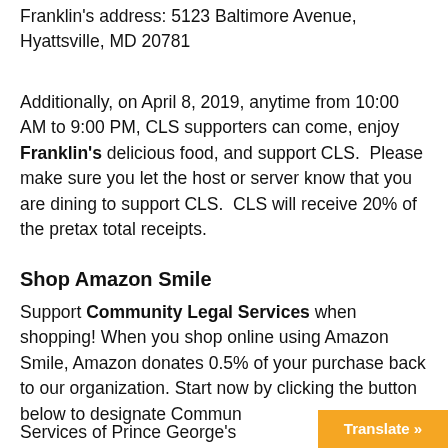Franklin's address: 5123 Baltimore Avenue, Hyattsville, MD 20781
Additionally, on April 8, 2019, anytime from 10:00 AM to 9:00 PM, CLS supporters can come, enjoy Franklin's delicious food, and support CLS.  Please make sure you let the host or server know that you are dining to support CLS.  CLS will receive 20% of the pretax total receipts.
Shop Amazon Smile
Support Community Legal Services when shopping! When you shop online using Amazon Smile, Amazon donates 0.5% of your purchase back to our organization. Start now by clicking the button below to designate Community Legal Services of Prince George's County.